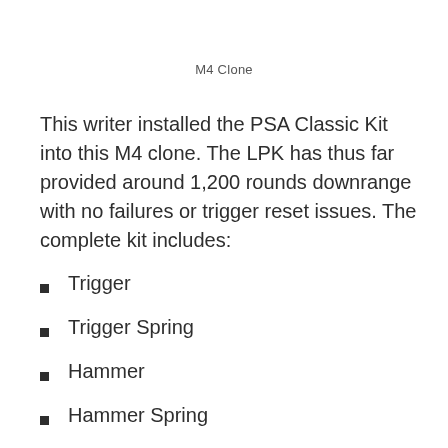M4 Clone
This writer installed the PSA Classic Kit into this M4 clone. The LPK has thus far provided around 1,200 rounds downrange with no failures or trigger reset issues. The complete kit includes:
Trigger
Trigger Spring
Hammer
Hammer Spring
A2 Grip
Buffer Retainer Pin